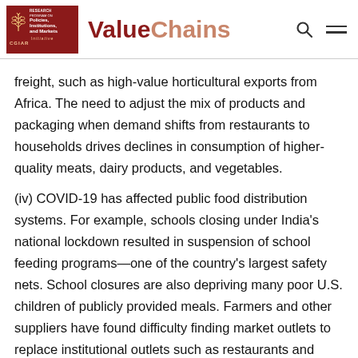Value Chains — CGIAR Research Program on Policies, Institutions, and Markets
freight, such as high-value horticultural exports from Africa. The need to adjust the mix of products and packaging when demand shifts from restaurants to households drives declines in consumption of higher-quality meats, dairy products, and vegetables.
(iv) COVID-19 has affected public food distribution systems. For example, schools closing under India's national lockdown resulted in suspension of school feeding programs—one of the country's largest safety nets. School closures are also depriving many poor U.S. children of publicly provided meals. Farmers and other suppliers have found difficulty finding market outlets to replace institutional outlets such as restaurants and schools,